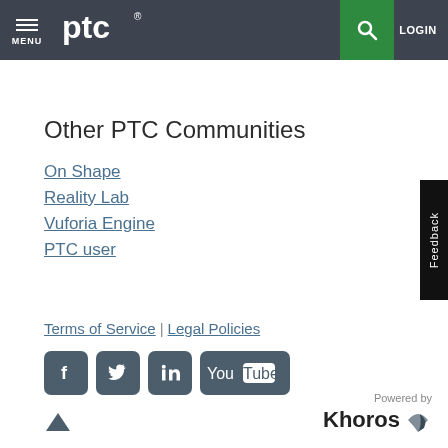[Figure (screenshot): PTC website header with menu icon, PTC logo, search button (green background), and LOGIN button on dark gray background]
Other PTC Communities
On Shape
Reality Lab
Vuforia Engine
PTC user
Terms of Service | Legal Policies
[Figure (illustration): Social media icons: Facebook, Twitter, LinkedIn, YouTube]
[Figure (logo): Powered by Khoros logo]